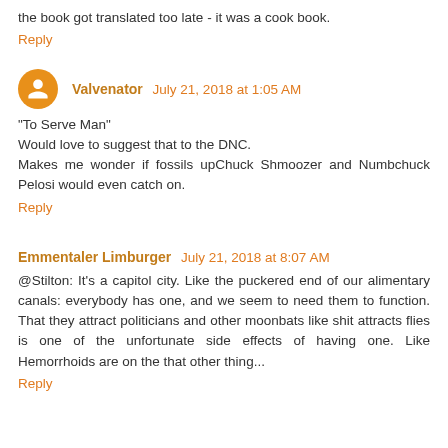the book got translated too late - it was a cook book.
Reply
Valvenator  July 21, 2018 at 1:05 AM
"To Serve Man"
Would love to suggest that to the DNC.
Makes me wonder if fossils upChuck Shmoozer and Numbchuck Pelosi would even catch on.
Reply
Emmentaler Limburger  July 21, 2018 at 8:07 AM
@Stilton: It's a capitol city. Like the puckered end of our alimentary canals: everybody has one, and we seem to need them to function. That they attract politicians and other moonbats like shit attracts flies is one of the unfortunate side effects of having one. Like Hemorrhoids are on the that other thing...
Reply